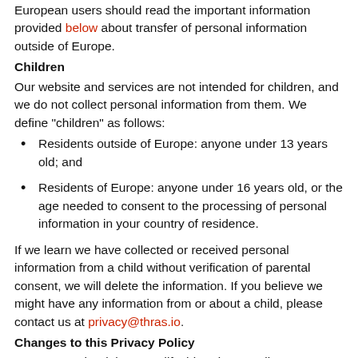European users should read the important information provided below about transfer of personal information outside of Europe.
Children
Our website and services are not intended for children, and we do not collect personal information from them. We define "children" as follows:
Residents outside of Europe: anyone under 13 years old; and
Residents of Europe: anyone under 16 years old, or the age needed to consent to the processing of personal information in your country of residence.
If we learn we have collected or received personal information from a child without verification of parental consent, we will delete the information. If you believe we might have any information from or about a child, please contact us at privacy@thras.io.
Changes to this Privacy Policy
We reserve the right to modify this Privacy Policy at any time. If we make material changes to this Privacy Policy, we will notify you by updating the date of this Privacy Policy and posting it our website. We may also provide